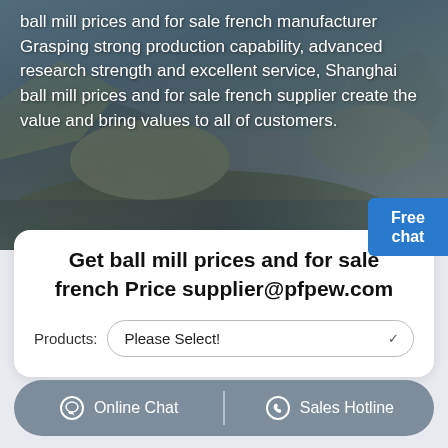[Figure (photo): Aerial view of a mining or quarry site with rocky terrain, dark blue-grey tones]
ball mill prices and for sale french manufacturer Grasping strong production capability, advanced research strength and excellent service, Shanghai ball mill prices and for sale french supplier create the value and bring values to all of customers.
Free chat
Get ball mill prices and for sale french Price supplier@pfpew.com
Products: Please Select!
Online Chat   Sales Hotline